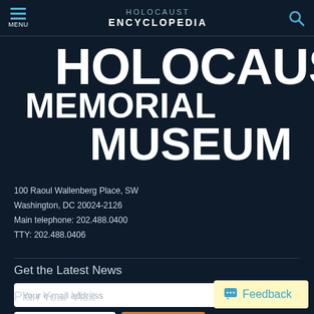HOLOCAUST ENCYCLOPEDIA — Navigation bar with MENU and search
[Figure (logo): United States Holocaust Memorial Museum logo with large stacked white bold text: HOLOCAUST / MEMORIAL / MUSEUM on dark navy background]
100 Raoul Wallenberg Place, SW
Washington, DC 20024-2126
Main telephone: 202.488.0400
TTY: 202.488.0406
Get the Latest News
Your e-mail address
Postal Code
SUBSCRIBE
Plan Your Visit
Feedback